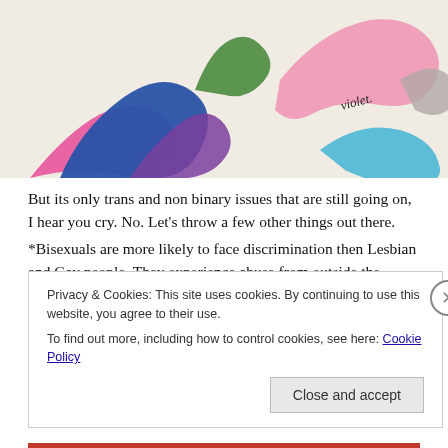[Figure (illustration): Colorful illustrated artwork featuring swirling decorative shapes in rainbow/LGBTQ+ pride colors (pink, blue, purple, green, light blue, grey) on a beige background, with a handwritten signature 'violet' in the lower right area.]
But its only trans and non binary issues that are still going on, I hear you cry. No. Let's throw a few other things out there.
*Bisexuals are more likely to face discrimination then Lesbian and Gay people. They experience abuse from outside the community as well as inside, and are often told that their sexuality isn't legitimate.
Privacy & Cookies: This site uses cookies. By continuing to use this website, you agree to their use.
To find out more, including how to control cookies, see here: Cookie Policy
Close and accept